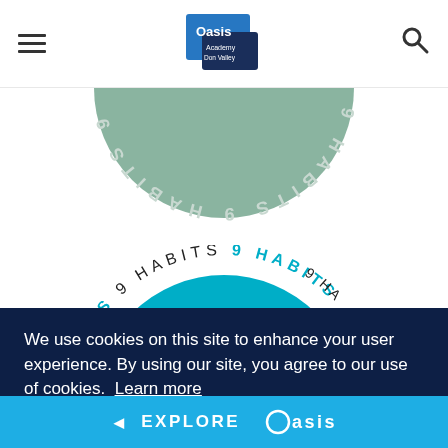Oasis Academy Don Valley — navigation header with hamburger menu, logo, and search icon
[Figure (illustration): Upper half of a circular badge with text '9 HABITS' repeated around the circumference arc, in muted sage/teal color, shown upside down / mirrored (reflected), partially cropped at top of page.]
[Figure (illustration): Lower circular badge with teal/cyan fill, text '9 HABITS' repeated around the circumference, and the word 'FORGIVING' visible in white text at the bottom of the circle interior. The circle is partially cropped.]
We use cookies on this site to enhance your user experience. By using our site, you agree to our use of cookies. Learn more
Decline
Allow cookies
◄ EXPLORE Oasis